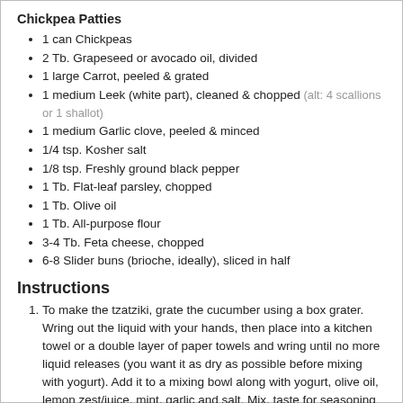Chickpea Patties
1 can Chickpeas
2 Tb. Grapeseed or avocado oil, divided
1 large Carrot, peeled & grated
1 medium Leek (white part), cleaned & chopped (alt: 4 scallions or 1 shallot)
1 medium Garlic clove, peeled & minced
1/4 tsp. Kosher salt
1/8 tsp. Freshly ground black pepper
1 Tb. Flat-leaf parsley, chopped
1 Tb. Olive oil
1 Tb. All-purpose flour
3-4 Tb. Feta cheese, chopped
6-8 Slider buns (brioche, ideally), sliced in half
Instructions
To make the tzatziki, grate the cucumber using a box grater. Wring out the liquid with your hands, then place into a kitchen towel or a double layer of paper towels and wring until no more liquid releases (you want it as dry as possible before mixing with yogurt). Add it to a mixing bowl along with yogurt, olive oil, lemon zest/juice, mint, garlic and salt. Mix, taste for seasoning and let it sit for a few minutes to allow the flavors to meld.
Drain and rinse chickpeas then place in a large mixing bowl.